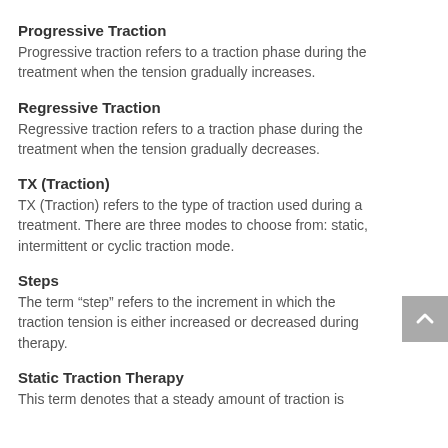Progressive Traction
Progressive traction refers to a traction phase during the treatment when the tension gradually increases.
Regressive Traction
Regressive traction refers to a traction phase during the treatment when the tension gradually decreases.
TX (Traction)
TX (Traction) refers to the type of traction used during a treatment. There are three modes to choose from: static, intermittent or cyclic traction mode.
Steps
The term “step” refers to the increment in which the traction tension is either increased or decreased during therapy.
Static Traction Therapy
This term denotes that a steady amount of traction is